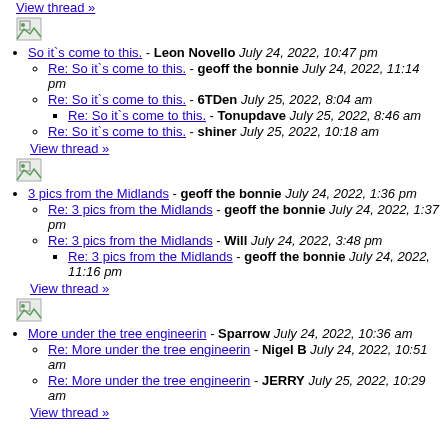View thread »
[Figure (photo): Broken/placeholder image icon]
So it`s come to this. - Leon Novello July 24, 2022, 10:47 pm
Re: So it`s come to this. - geoff the bonnie July 24, 2022, 11:14 pm
Re: So it`s come to this. - 6TDen July 25, 2022, 8:04 am
Re: So it`s come to this. - Tonupdave July 25, 2022, 8:46 am
Re: So it`s come to this. - shiner July 25, 2022, 10:18 am
View thread »
[Figure (photo): Broken/placeholder image icon]
3 pics from the Midlands - geoff the bonnie July 24, 2022, 1:36 pm
Re: 3 pics from the Midlands - geoff the bonnie July 24, 2022, 1:37 pm
Re: 3 pics from the Midlands - Will July 24, 2022, 3:48 pm
Re: 3 pics from the Midlands - geoff the bonnie July 24, 2022, 11:16 pm
View thread »
[Figure (photo): Broken/placeholder image icon]
More under the tree engineerin - Sparrow July 24, 2022, 10:36 am
Re: More under the tree engineerin - Nigel B July 24, 2022, 10:51 am
Re: More under the tree engineerin - JERRY July 25, 2022, 10:29 am
View thread »